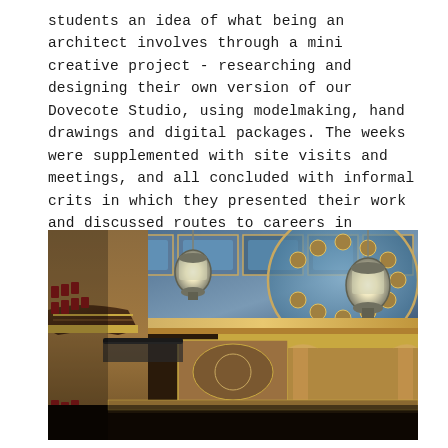students an idea of what being an architect involves through a mini creative project - researching and designing their own version of our Dovecote Studio, using modelmaking, hand drawings and digital packages. The weeks were supplemented with site visits and meetings, and all concluded with informal crits in which they presented their work and discussed routes to careers in architecture.
[Figure (photo): Interior photograph of an ornate historic theatre showing gilded ceiling with decorative moldings, circular dome, hanging lantern-style chandeliers, balcony seating with red seats, and elaborate architectural detailing in gold and warm tones against a blue ceiling.]